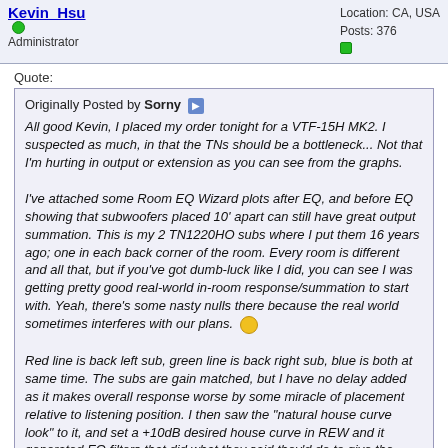Kevin_Hsu [Administrator] — Location: CA, USA | Posts: 376
Quote:
Originally Posted by Sorny
All good Kevin, I placed my order tonight for a VTF-15H MK2. I suspected as much, in that the TNs should be a bottleneck... Not that I'm hurting in output or extension as you can see from the graphs.

I've attached some Room EQ Wizard plots after EQ, and before EQ showing that subwoofers placed 10' apart can still have great output summation. This is my 2 TN1220HO subs where I put them 16 years ago; one in each back corner of the room. Every room is different and all that, but if you've got dumb-luck like I did, you can see I was getting pretty good real-world in-room response/summation to start with. Yeah, there's some nasty nulls there because the real world sometimes interferes with our plans.

Red line is back left sub, green line is back right sub, blue is both at same time. The subs are gain matched, but I have no delay added as it makes overall response worse by some miracle of placement relative to listening position. I then saw the "natural house curve look" to it, and set a +10dB desired house curve in REW and it generated EQ filters that did what they said they'd do to give the REV 3 EQ